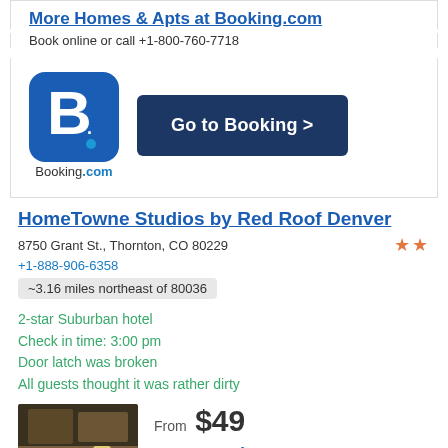More Homes & Apts at Booking.com
Book online or call +1-800-760-7718
[Figure (logo): Booking.com logo with blue rounded square containing white B. text, and 'Go to Booking >' dark blue button]
HomeTowne Studios by Red Roof Denver
8750 Grant St., Thornton, CO 80229
+1-888-906-6358
~3.16 miles northeast of 80036
2-star Suburban hotel
Check in time: 3:00 pm
Door latch was broken
All guests thought it was rather dirty
From $49
Poor 2.0 /5
[Figure (photo): Hotel room interior with bed and lamp]
+ Call
Book >